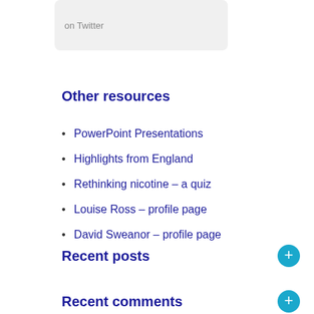[Figure (other): A light grey rounded box showing 'on Twitter' text placeholder]
Other resources
PowerPoint Presentations
Highlights from England
Rethinking nicotine – a quiz
Louise Ross – profile page
David Sweanor – profile page
Recent posts
Recent comments